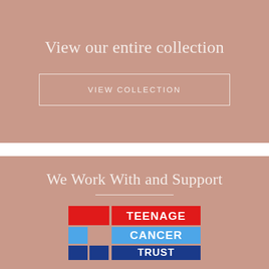View our entire collection
VIEW COLLECTION
We Work With and Support
[Figure (logo): Teenage Cancer Trust logo with red and blue rectangular blocks on the left, and 'TEENAGE CANCER TRUST' text in white on red, blue, and dark blue backgrounds on the right.]